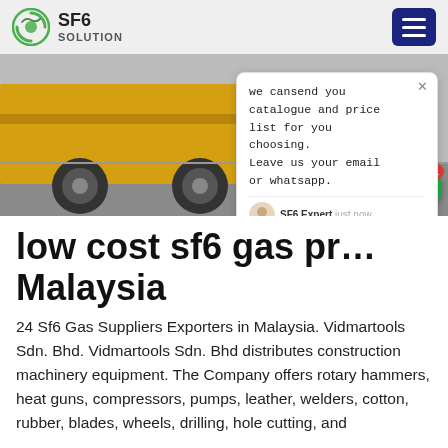SF6 SOLUTION
[Figure (photo): Construction/industrial scene with a yellow truck, equipment cases on the ground, and a worker in a yellow hard hat. A chat popup overlay is visible on the right side of the photo.]
low cost sf6 gas pr... Malaysia
24 Sf6 Gas Suppliers Exporters in Malaysia. Vidmartools Sdn. Bhd. Vidmartools Sdn. Bhd distributes construction machinery equipment. The Company offers rotary hammers, heat guns, compressors, pumps, leather, welders, cotton, rubber, blades, wheels, drilling, hole cutting, and more. From Malaysia Air Tools Supplier.